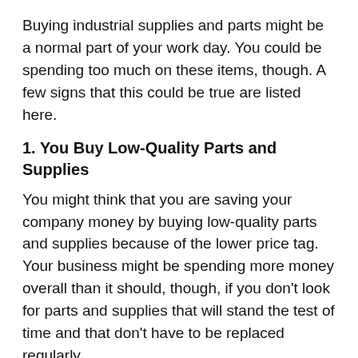Buying industrial supplies and parts might be a normal part of your work day. You could be spending too much on these items, though. A few signs that this could be true are listed here.
1. You Buy Low-Quality Parts and Supplies
You might think that you are saving your company money by buying low-quality parts and supplies because of the lower price tag. Your business might be spending more money overall than it should, though, if you don't look for parts and supplies that will stand the test of time and that don't have to be replaced regularly.
2. You Don't Buy from a Business That Caters to Industrial Businesses